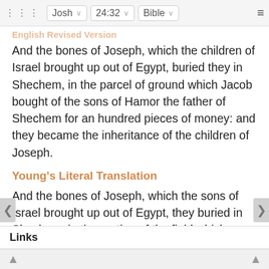Josh  24:32  Bible
English Revised Version
And the bones of Joseph, which the children of Israel brought up out of Egypt, buried they in Shechem, in the parcel of ground which Jacob bought of the sons of Hamor the father of Shechem for an hundred pieces of money: and they became the inheritance of the children of Joseph.
Young's Literal Translation
And the bones of Joseph, which the sons of Israel brought up out of Egypt, they buried in Shechem, in the portion of the field which Jacob bought from the sons of Hamor father of Shechem, with a hundred kesitah; and they are to the sons of Joseph for an inheritance.
Links